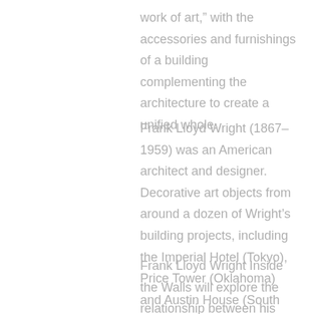work of art," with the accessories and furnishings of a building complementing the architecture to create a unified whole.
Frank Lloyd Wright (1867–1959) was an American architect and designer. Decorative art objects from around a dozen of Wright's building projects, including the Imperial Hotel (Tokyo), Price Tower (Oklahoma) and Austin House (South Carolina), are part of the permanent collection of Kirkland Museum. Wright designs at Kirkland Museum reflect the range of his work in Arts & Crafts, Art Deco and Modern styles.
Frank Lloyd Wright Inside the Walls will explore the relationship between his architecture and decorative art. Wright